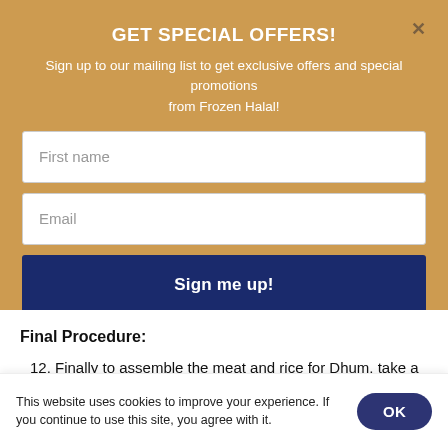GET SPECIAL OFFERS!
Sign up to our mailing list to get exclusive offers and special promotions from Frozen Halal!
First name
Email
Sign me up!
Final Procedure:
12. Finally to assemble the meat and rice for Dhum, take a large heavy bottomed vessel or oven dish (in case we are using an oven).
This website uses cookies to improve your experience. If you continue to use this site, you agree with it.
OK